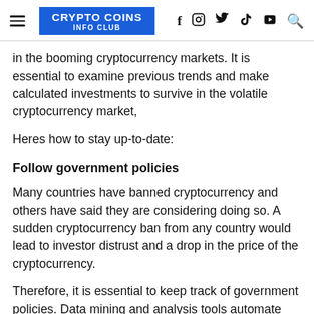CRYPTO COINS INFO CLUB
in the booming cryptocurrency markets. It is essential to examine previous trends and make calculated investments to survive in the volatile cryptocurrency market,
Heres how to stay up-to-date:
Follow government policies
Many countries have banned cryptocurrency and others have said they are considering doing so. A sudden cryptocurrency ban from any country would lead to investor distrust and a drop in the price of the cryptocurrency.
Therefore, it is essential to keep track of government policies. Data mining and analysis tools automate the process of analyzing government policies and bills, allowing the organization to invest in a legitimate currency.